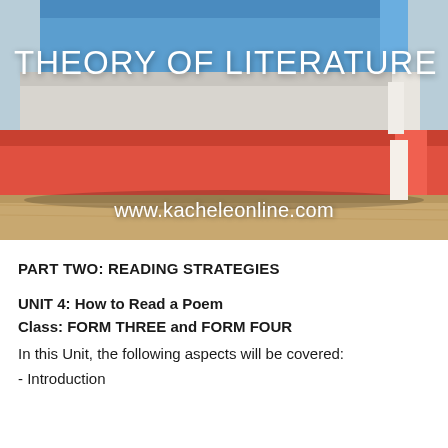[Figure (photo): Stack of books (blue, white/grey, red) on a wooden surface with white text overlay showing 'THEORY OF LITERATURE' and 'www.kacheleonline.com']
PART TWO: READING STRATEGIES
UNIT 4: How to Read a Poem
Class: FORM THREE and FORM FOUR
In this Unit, the following aspects will be covered:
- Introduction